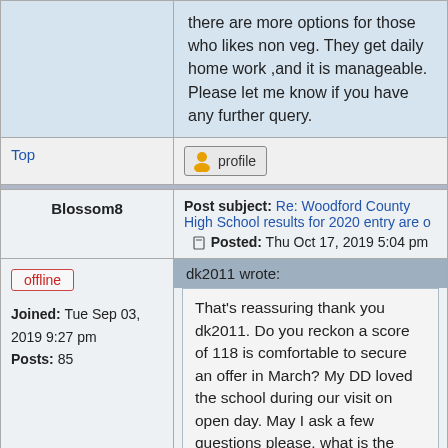there are more options for those who likes non veg. They get daily home work ,and it is manageable. Please let me know if you have any further query.
Top
profile
Post subject: Re: Woodford County High School results for 2020 entry are o  Posted: Thu Oct 17, 2019 5:04 pm
Blossom8
offline
Joined: Tue Sep 03, 2019 9:27 pm  Posts: 85
dk2011 wrote: That's reassuring thank you dk2011. Do you reckon a score of 118 is comfortable to secure an offer in March? My DD loved the school during our visit on open day. May I ask a few questions please, what is the pastoral care like,